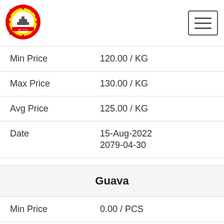[Figure (logo): Circular government/cooperative logo with gear border in red and yellow, with text and emblem inside]
| Label | Value |
| --- | --- |
| Min Price | 120.00 / KG |
| Max Price | 130.00 / KG |
| Avg Price | 125.00 / KG |
| Date | 15-Aug-2022
2079-04-30 |
Guava
| Label | Value |
| --- | --- |
| Min Price | 0.00 / PCS |